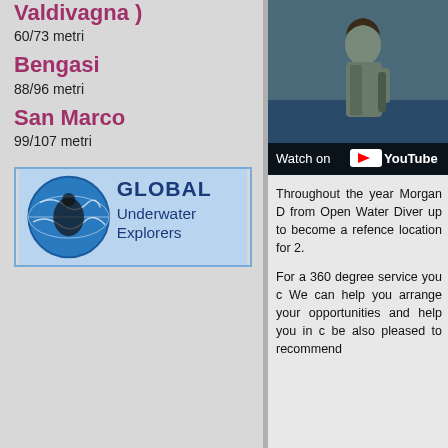Valdivagna )
60/73 metri
Bengasi
88/96 metri
San Marco
99/107 metri
[Figure (logo): Global Underwater Explorers logo with globe and diver icon in blue tones]
[Figure (photo): Video thumbnail showing a person on a boat, with Watch on YouTube overlay]
Throughout the year Morgan D from Open Water Diver up to become a refence location for 2.
For a 360 degree service you c We can help you arrange your opportunities and help you in c be also pleased to recommend